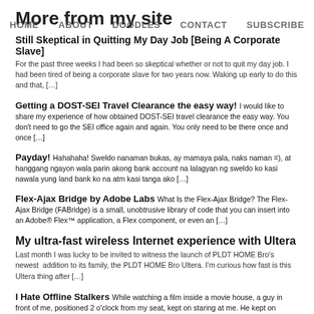More from my site
HOME   ABOUT   DOODLES   CONTACT   SUBSCRIBE
Still Skeptical in Quitting My Day Job [Being A Corporate Slave]
For the past three weeks I had been so skeptical whether or not to quit my day job. I had been tired of being a corporate slave for two years now. Waking up early to do this and that, […]
Getting a DOST-SEI Travel Clearance the easy way!
I would like to share my experience of how obtained DOST-SEI travel clearance the easy way. You don't need to go the SEI office again and again. You only need to be there once and once […]
Payday!
Hahahaha! Sweldo nanaman bukas, ay mamaya pala, naks naman =), at hanggang ngayon wala parin akong bank account na lalagyan ng sweldo ko kasi nawala yung land bank ko na atm kasi tanga ako […]
Flex-Ajax Bridge by Adobe Labs
What Is the Flex-Ajax Bridge? The Flex-Ajax Bridge (FABridge) is a small, unobtrusive library of code that you can insert into an Adobe® Flex™ application, a Flex component, or even an […]
My ultra-fast wireless Internet experience with Ultera
Last month I was lucky to be invited to witness the launch of PLDT HOME Bro's newest  addition to its family, the PLDT HOME Bro Ultera. I'm curious how fast is this Ultera thing after […]
I Hate Offline Stalkers
While watching a film inside a movie house, a guy in front of me, positioned 2 o'clock from my seat, kept on staring at me. He kept on turning his